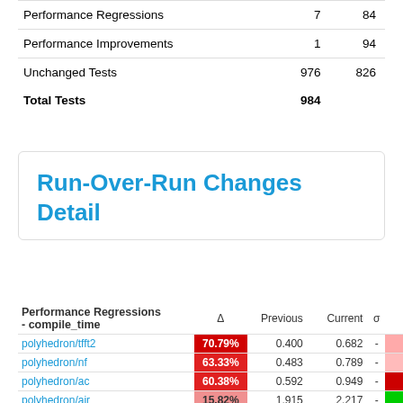|  |  |  |
| --- | --- | --- |
| Performance Regressions | 7 | 84 |
| Performance Improvements | 1 | 94 |
| Unchanged Tests | 976 | 826 |
| Total Tests | 984 |  |
Run-Over-Run Changes Detail
Performance Regressions - compile_time
|  | Δ | Previous | Current | σ |  |
| --- | --- | --- | --- | --- | --- |
| polyhedron/tfft2 | 70.79% | 0.400 | 0.682 | - |  |
| polyhedron/nf | 63.33% | 0.483 | 0.789 | - |  |
| polyhedron/ac | 60.38% | 0.592 | 0.949 | - |  |
| polyhedron/air | 15.82% | 1.915 | 2.217 | - |  |
| polyhedron/doduc | 6.58% | 370.698 | 395.095 | - |  |